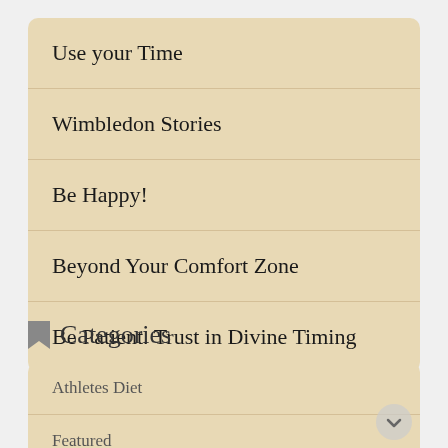Use your Time
Wimbledon Stories
Be Happy!
Beyond Your Comfort Zone
Be Patient. Trust in Divine Timing
Categories
Athletes Diet
Featured